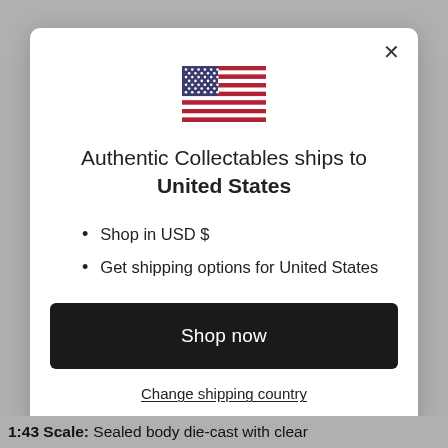[Figure (illustration): US flag emoji/icon displayed at top center of modal dialog]
Authentic Collectables ships to United States
Shop in USD $
Get shipping options for United States
Shop now
Change shipping country
1:43 Scale: Sealed body die-cast with clear